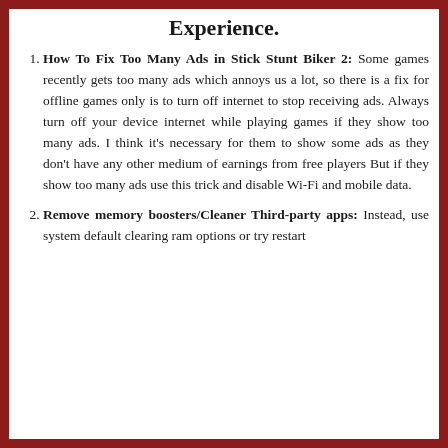Experience.
How To Fix Too Many Ads in Stick Stunt Biker 2: Some games recently gets too many ads which annoys us a lot, so there is a fix for offline games only is to turn off internet to stop receiving ads. Always turn off your device internet while playing games if they show too many ads. I think it's necessary for them to show some ads as they don't have any other medium of earnings from free players But if they show too many ads use this trick and disable Wi-Fi and mobile data.
Remove memory boosters/Cleaner Third-party apps: Instead, use system default clearing ram options or try restart the phone and remove unnecessary apps from the phone.